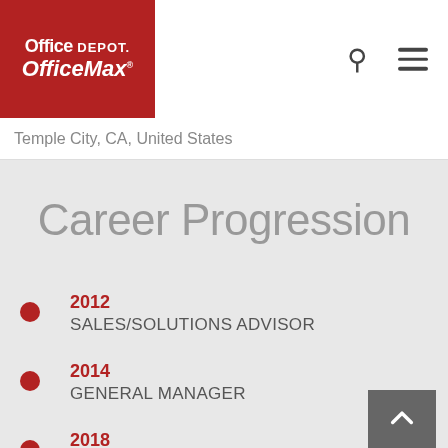[Figure (logo): Office Depot OfficeMax logo — white text on red background]
Temple City, CA, United States
Career Progression
2012 SALES/SOLUTIONS ADVISOR
2014 GENERAL MANAGER
2018 STORE PROJECTS MANAGER